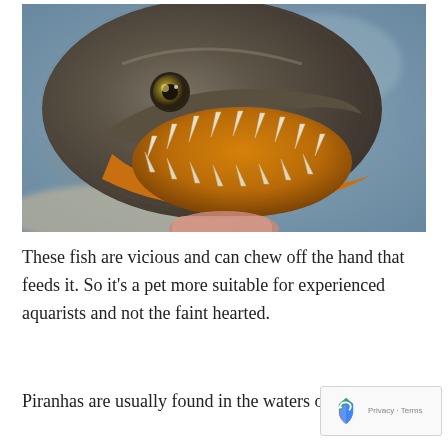[Figure (photo): Close-up photograph of a piranha fish with its mouth wide open, showing sharp white teeth and an orange-tinted interior. The fish is being held by a human hand visible at the bottom. Background is blurred grayish-blue.]
These fish are vicious and can chew off the hand that feeds it. So it's a pet more suitable for experienced aquarists and not the faint hearted.
Piranhas are usually found in the waters of Sou...